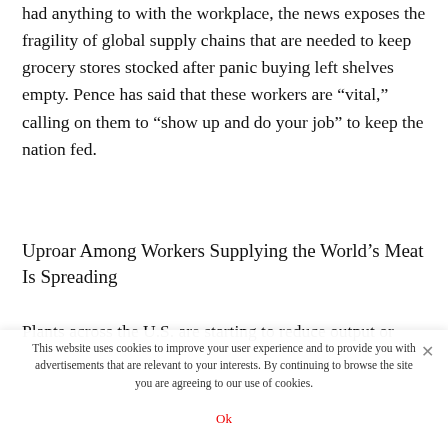had anything to with the workplace, the news exposes the fragility of global supply chains that are needed to keep grocery stores stocked after panic buying left shelves empty. Pence has said that these workers are “vital,” calling on them to “show up and do your job” to keep the nation fed.
Uproar Among Workers Supplying the World’s Meat Is Spreading
Plants across the U.S. are starting to reduce output or
This website uses cookies to improve your user experience and to provide you with advertisements that are relevant to your interests. By continuing to browse the site you are agreeing to our use of cookies.
Ok